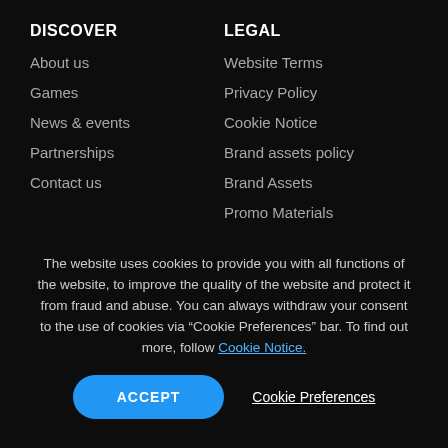DISCOVER
About us
Games
News & events
Partnerships
Contact us
LEGAL
Website Terms
Privacy Policy
Cookie Notice
Brand assets policy
Brand Assets
Promo Materials
The website uses cookies to provide you with all functions of the website, to improve the quality of the website and protect it from fraud and abuse. You can always withdraw your consent to the use of cookies via “Cookie Preferences” bar. To find out more, follow Cookie Notice.
ACCEPT
Cookie Preferences